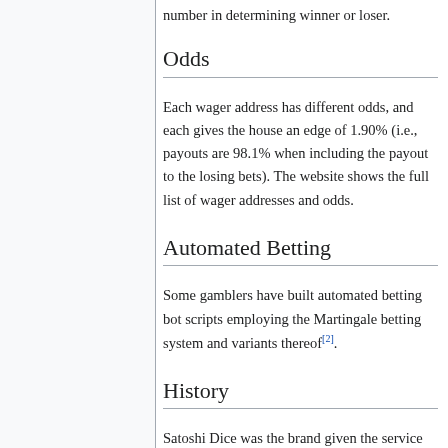number in determining winner or loser.
Odds
Each wager address has different odds, and each gives the house an edge of 1.90% (i.e., payouts are 98.1% when including the payout to the losing bets). The website shows the full list of wager addresses and odds.
Automated Betting
Some gamblers have built automated betting bot scripts employing the Martingale betting system and variants thereof[2].
History
Satoshi Dice was the brand given the service initially created by BitcoinTalk